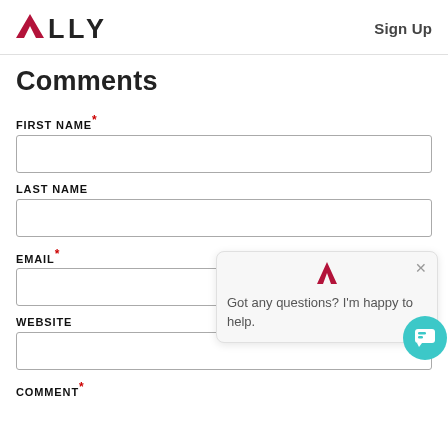ALLY — Sign Up
Comments
FIRST NAME*
LAST NAME
EMAIL*
[Figure (screenshot): Chat popup with Ally logo icon, close button (×), and text: 'Got any questions? I'm happy to help.' with a teal chat bubble button in the bottom right.]
WEBSITE
COMMENT*